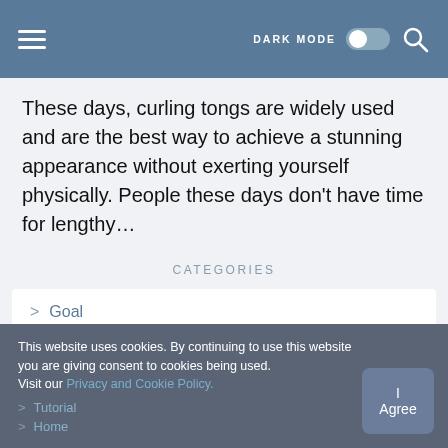DARK MODE [toggle] [search]
These days, curling tongs are widely used and are the best way to achieve a stunning appearance without exerting yourself physically. People these days don't have time for lengthy…
CATEGORIES
> Goal
This website uses cookies. By continuing to use this website you are giving consent to cookies being used. Visit our Privacy and Cookie Policy.
> Tutorial
> Home